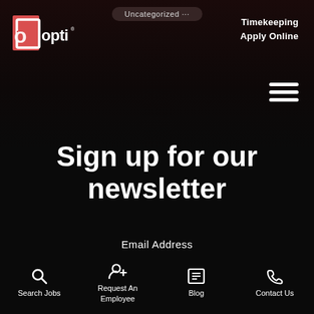[Figure (logo): Opti staffing group logo — red square with letter O and white text opti]
Uncategorized
Timekeeping
Apply Online
[Figure (other): Hamburger menu icon (three horizontal white lines)]
Sign up for our newsletter
Email Address
email address
Search Jobs  Request An Employee  Blog  Contact Us